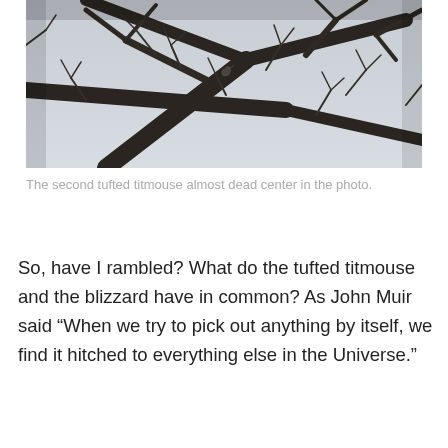[Figure (photo): A photograph looking up through bare winter tree branches against a pale grey sky. Tangled dark branches fill the frame, with a small bird (tufted titmouse) visible near the center.]
The second tufted titmouse almost dead center in the photo.
So, have I rambled? What do the tufted titmouse and the blizzard have in common? As John Muir said “When we try to pick out anything by itself, we find it hitched to everything else in the Universe.”